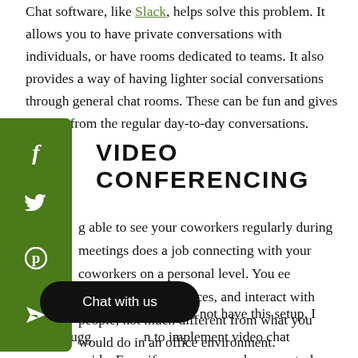Chat software, like Slack, helps solve this problem. It allows you to have private conversations with individuals, or have rooms dedicated to teams. It also provides a way of having lighter social conversations through general chat rooms. These can be fun and gives a break from the regular day-to-day conversations.
[Figure (infographic): Green vertical social sharing bar with icons for Facebook (f), Twitter (bird), Pinterest (p), and Telegram (arrow)]
VIDEO CONFERENCING
g able to see your coworkers regularly during meetings does a job connecting with your coworkers on a personal level. You ee expressions, hear voices, and interact with people, not much different from what you would do in an office environment.
[Figure (other): Black rounded pill-shaped chat bubble button with white text 'Chat with us']
If y any that does not have this setup, I highly sugg n to implement video chat company-wide. Even if your company has a central office, they should be able to